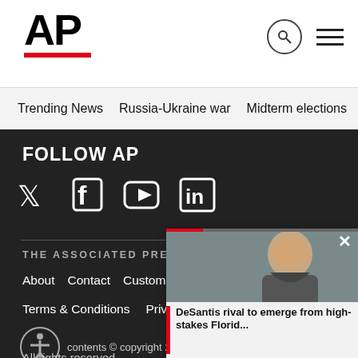AP
Trending News   Russia-Ukraine war   Midterm elections   Dona
FOLLOW AP
[Figure (logo): Social media icons: Twitter, Facebook, YouTube, LinkedIn]
THE ASSOCIATED PRESS
About   Contact   Customer Support   Careers
Terms & Conditions   Privacy
contents © copyright 2022 The Associated Press. All rights reserved.
[Figure (photo): Video popup overlay showing a woman smiling with caption: DeSantis rival to emerge from high-stakes Florid...]